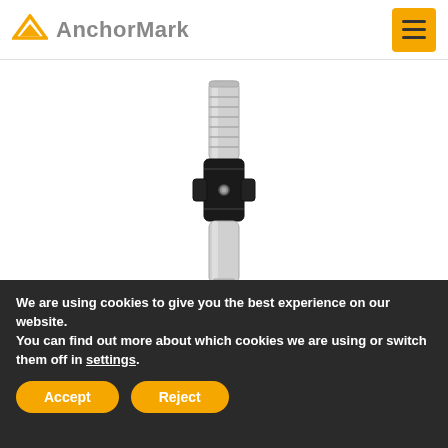AnchorMark
[Figure (photo): Bolt Anchor FAZ II product photo showing a silver and black metal anchor bolt]
Bolt Anchor FAZ II
For highest demands. Powerful and flexible. The FAZ II is
We are using cookies to give you the best experience on our website.
You can find out more about which cookies we are using or switch them off in settings.
Accept  Reject